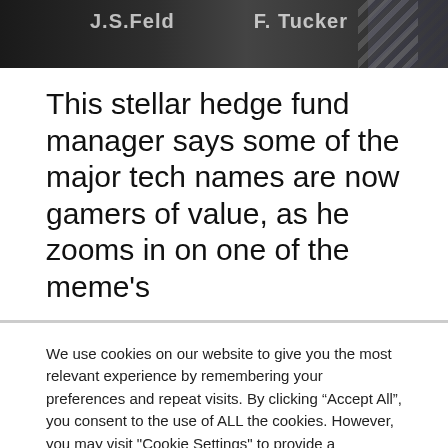[Figure (photo): Dark banner image strip showing partial text and a person in the background with diagonal striped pattern on the right side]
This stellar hedge fund manager says some of the major tech names are now gamers of value, as he zooms in on one of the meme’s
We use cookies on our website to give you the most relevant experience by remembering your preferences and repeat visits. By clicking “Accept All”, you consent to the use of ALL the cookies. However, you may visit "Cookie Settings" to provide a controlled consent.
Cookie Settings | Accept All